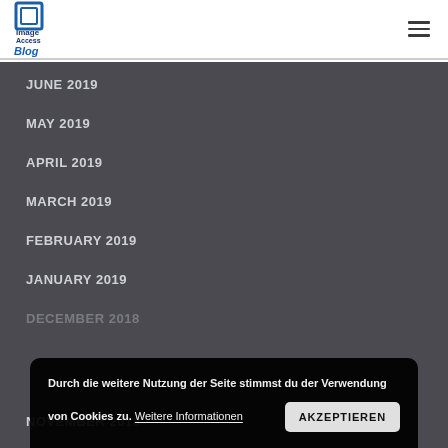[Figure (logo): Image Access Blog logo with blue icon and text]
JUNE 2019
MAY 2019
APRIL 2019
MARCH 2019
FEBRUARY 2019
JANUARY 2019
DECEMBER 2018
NOVEMBER 2018
Durch die weitere Nutzung der Seite stimmst du der Verwendung von Cookies zu. Weitere Informationen
AKZEPTIEREN